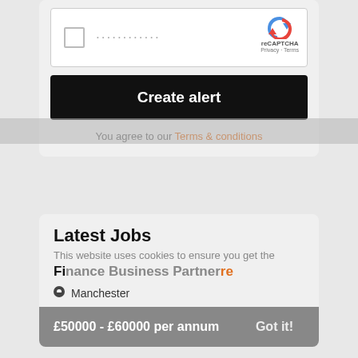[Figure (screenshot): reCAPTCHA widget with checkbox and arrow logo, showing 'reCAPTCHA' text and 'Privacy · Terms' links]
Create alert
You agree to our Terms & conditions
Latest Jobs
This website uses cookies to ensure you get the best experience on our website
Finance Business Partner
Manchester
£50000 - £60000 per annum
Got it!